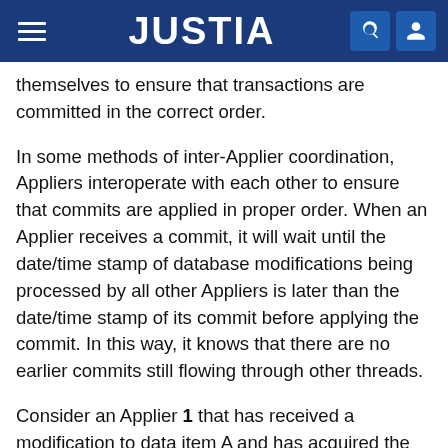JUSTIA
themselves to ensure that transactions are committed in the correct order.
In some methods of inter-Applier coordination, Appliers interoperate with each other to ensure that commits are applied in proper order. When an Applier receives a commit, it will wait until the date/time stamp of database modifications being processed by all other Appliers is later than the date/time stamp of its commit before applying the commit. In this way, it knows that there are no earlier commits still flowing through other threads.
Consider an Applier 1 that has received a modification to data item A and has acquired the lock on data item A in preparation to updating it. Then Applier 2 receives through an independent thread a modification also to data item A but from different transaction. Applier 2 will